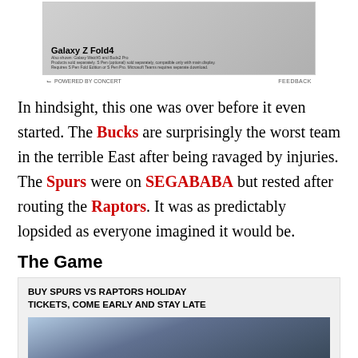[Figure (photo): Samsung Galaxy Z Fold4 advertisement image with product shown on dark background, with 'Galaxy Z Fold4' text and fine print below]
POWERED BY CONCERT   FEEDBACK
In hindsight, this one was over before it even started. The Bucks are surprisingly the worst team in the terrible East after being ravaged by injuries. The Spurs were on SEGABABA but rested after routing the Raptors. It was as predictably lopsided as everyone imagined it would be.
The Game
BUY SPURS VS RAPTORS HOLIDAY TICKETS, COME EARLY AND STAY LATE
[Figure (photo): Two basketball players on court, one in white jersey facing another player, with crowd in background]